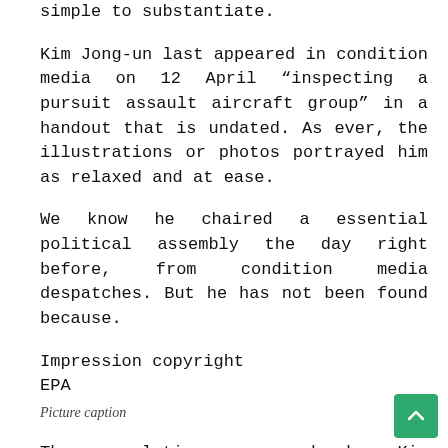simple to substantiate.
Kim Jong-un last appeared in condition media on 12 April “inspecting a pursuit assault aircraft group” in a handout that is undated. As ever, the illustrations or photos portrayed him as relaxed and at ease.
We know he chaired a essential political assembly the day right before, from condition media despatches. But he has not been found because.
Impression copyright
EPA
Picture caption
The speculation commenced when Kim Jong-un skipped celebrations for the birthday of his grandfather.